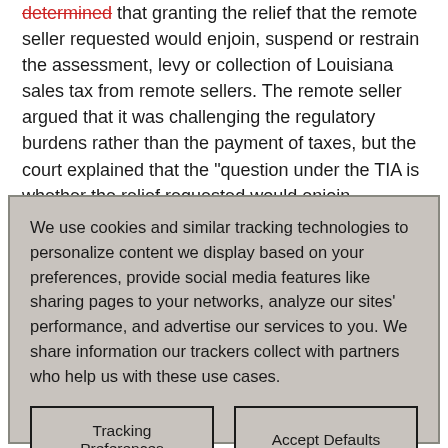determined that granting the relief that the remote seller requested would enjoin, suspend or restrain the assessment, levy or collection of Louisiana sales tax from remote sellers. The remote seller argued that it was challenging the regulatory burdens rather than the payment of taxes, but the court explained that the "question under the TIA is whether the relief requested would enjoin, suspend or restrain the...
We use cookies and similar tracking technologies to personalize content we display based on your preferences, provide social media features like sharing pages to your networks, analyze our sites' performance, and advertise our services to you. We share information our trackers collect with partners who help us with these use cases.
Tracking Preferences | Accept Defaults